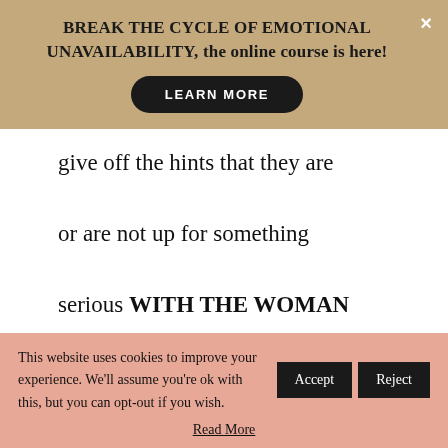BREAK THE CYCLE OF EMOTIONAL UNAVAILABILITY, the online course is here!
LEARN MORE
give off the hints that they are or are not up for something serious WITH THE WOMAN THEY CONSCIOUSLY OR UNCONSCIOUSLY CHOOSE TO BE THE ONE, in a
This website uses cookies to improve your experience. We'll assume you're ok with this, but you can opt-out if you wish.
Accept
Reject
Read More